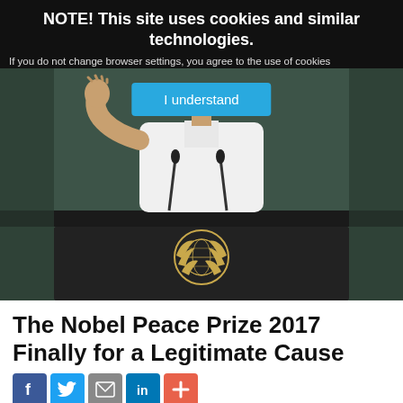NOTE! This site uses cookies and similar technologies.
If you do not change browser settings, you agree to the use of cookies
[Figure (photo): Person in white outfit standing at a UN General Assembly podium, raising one hand, with two microphones visible and the UN emblem on the front of the podium]
The Nobel Peace Prize 2017 Finally for a Legitimate Cause
[Figure (infographic): Social sharing buttons: Facebook (blue), Twitter (light blue), Email (gray), LinkedIn (dark blue), Plus/more (orange-red)]
Viewpoint by Somar Wijayadasa*